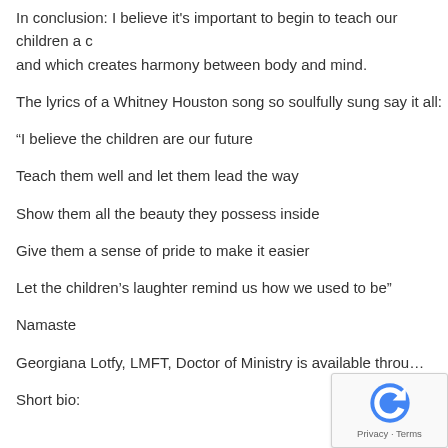In conclusion: I believe it's important to begin to teach our children a c… and which creates harmony between body and mind.
The lyrics of a Whitney Houston song so soulfully sung say it all:
“I believe the children are our future
Teach them well and let them lead the way
Show them all the beauty they possess inside
Give them a sense of pride to make it easier
Let the children’s laughter remind us how we used to be”
Namaste
Georgiana Lotfy, LMFT, Doctor of Ministry is available throu…
Short bio: